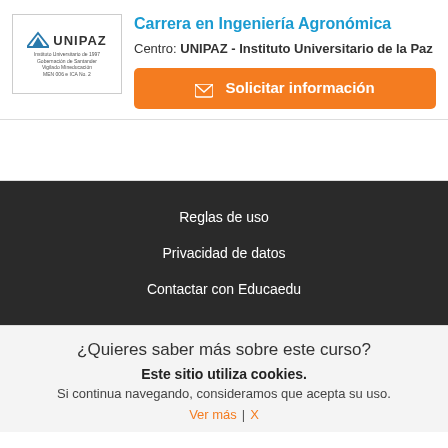[Figure (logo): UNIPAZ university logo with mountain/triangle icon and small text lines below]
Carrera en Ingeniería Agronómica
Centro: UNIPAZ - Instituto Universitario de la Paz
✉ Solicitar información
Reglas de uso
Privacidad de datos
Contactar con Educaedu
¿Quieres saber más sobre este curso?
Este sitio utiliza cookies.
Si continua navegando, consideramos que acepta su uso.
Ver más | X